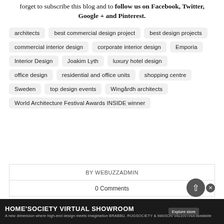forget to subscribe this blog and to follow us on Facebook, Twitter, Google + and Pinterest.
architects
best commercial design project
best design projects
commercial interior design
corporate interior design
Emporia
Interior Design
Joakim Lyth
luxury hotel design
office design
residential and office units
shopping centre
Sweden
top design events
Wingårdh architects
World Architecture Festival Awards INSIDE winner
BY WEBUZZADMIN
0 Comments
HOME'SOCIETY VIRTUAL SHOWROOM
A new dimension where high-end design meets imagination BRABBU, RUGSOCIETY & MAISON VALENTINA available